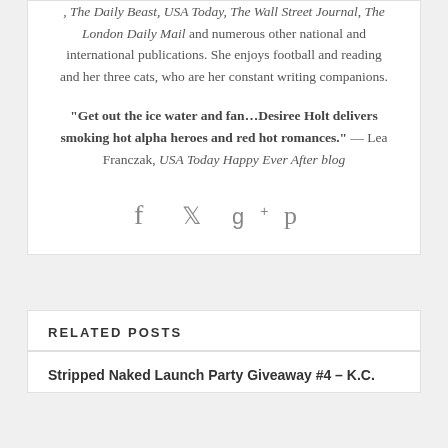been featured on CBS Sunday Morning and in The Village Voice, The Daily Beast, USA Today, The Wall Street Journal, The London Daily Mail and numerous other national and international publications. She enjoys football and reading and her three cats, who are her constant writing companions.
“Get out the ice water and fan…Desiree Holt delivers smoking hot alpha heroes and red hot romances.” — Lea Franczak, USA Today Happy Ever After blog
[Figure (other): Social media sharing icons: Facebook, Twitter, Google+, Pinterest]
RELATED POSTS
Stripped Naked Launch Party Giveaway #4 – K.C.